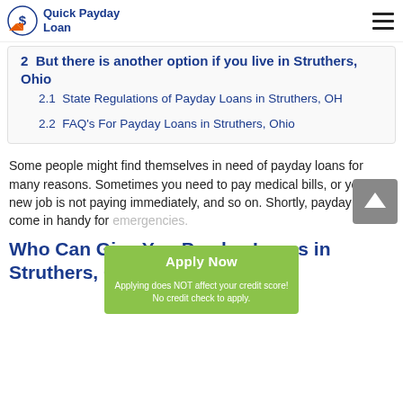Quick Payday Loan
2  But there is another option if you live in Struthers, Ohio
2.1  State Regulations of Payday Loans in Struthers, OH
2.2  FAQ's For Payday Loans in Struthers, Ohio
Some people might find themselves in need of payday loans for many reasons. Sometimes you need to pay medical bills, or your new job is not paying immediately, and so on. Shortly, payday loans come in handy for emergencies.
[Figure (other): Green 'Apply Now' button with subtext 'Applying does NOT affect your credit score! No credit check to apply.']
Who Can Give You Payday Loans in Struthers, Ohio